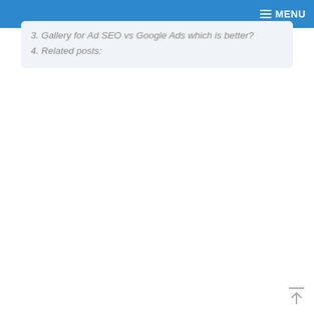MENU
3. Gallery for Ad SEO vs Google Ads which is better?
4. Related posts: